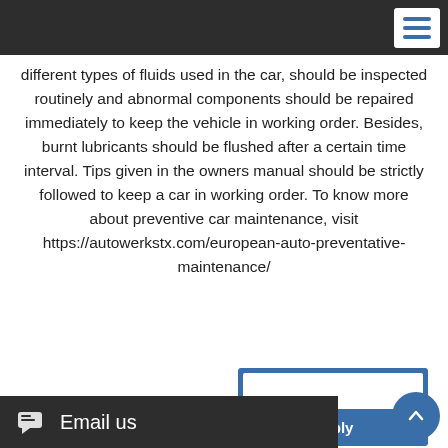[Navigation bar with hamburger menu]
different types of fluids used in the car, should be inspected routinely and abnormal components should be repaired immediately to keep the vehicle in working order. Besides, burnt lubricants should be flushed after a certain time interval. Tips given in the owners manual should be strictly followed to keep a car in working order. To know more about preventive car maintenance, visit https://autowerkstx.com/european-auto-preventative-maintenance/
Private investigator los angeles → 8/15/2020 09:56:02 am
Very good points you wrote here..Great stuff...I think you've made some truly interesting points.Keep up the good work.